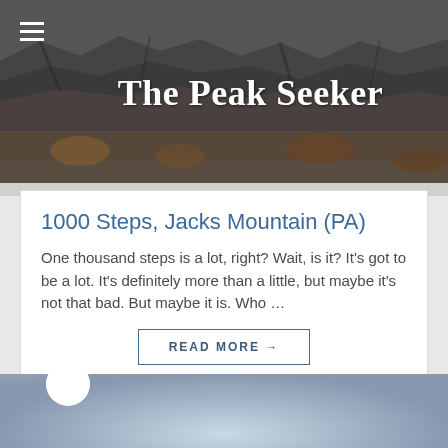The Peak Seeker
1000 Steps, Jacks Mountain (PA)
One thousand steps is a lot, right? Wait, is it? It's got to be a lot. It's definitely more than a little, but maybe it's not that bad. But maybe it is. Who ...
READ MORE →
[Figure (photo): Outdoor photo showing a bright sun/light source in the upper left against a gray overcast sky, possibly a misty mountain or landscape scene.]